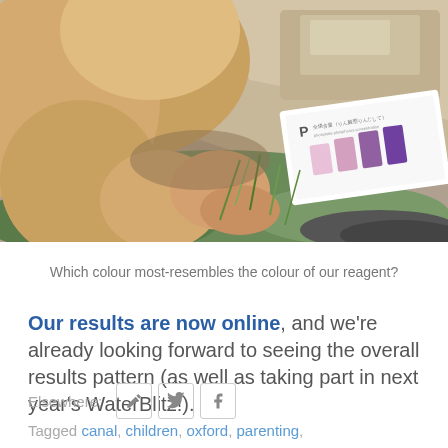[Figure (photo): A child with long blonde hair looking down at a phosphate testing kit/reagent card laid on rocky ground with grass, comparing colour strips on a test card]
Which colour most-resembles the colour of our reagent?
Our results are now online, and we're already looking forward to seeing the overall results pattern (as well as taking part in next year's WaterBlitz!).
Elsewhere: [edit icon] [twitter icon] [facebook icon]
Tagged canal, children, oxford, parenting,